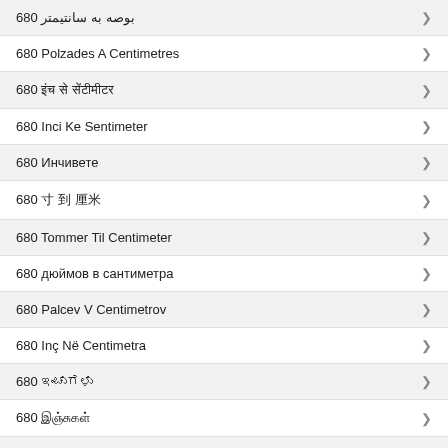680 بوصه به سانتیمتر
680 Polzades A Centimetres
680 इंच से सेंटीमीटर
680 Inci Ke Sentimeter
680 Инчивете
680 寸 到 厘米
680 Tommer Til Centimeter
680 дюймов в сантиметра
680 Palcev V Centimetrov
680 Inç Në Centimetra
680 ಇಂಚುಗಳು
680 இஞ்சுகள்
680 İnce Santimetre